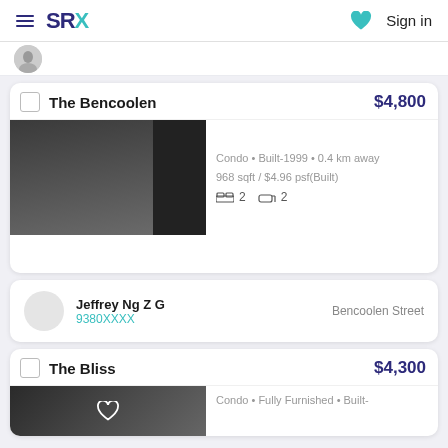SRX  Sign in
The Bencoolen  $4,800
Condo • Built-1999 • 0.4 km away
968 sqft / $4.96 psf(Built)
2 beds  2 baths
Jeffrey Ng Z G
9380XXXX
Bencoolen Street
The Bliss  $4,300
Condo • Fully Furnished • Built-